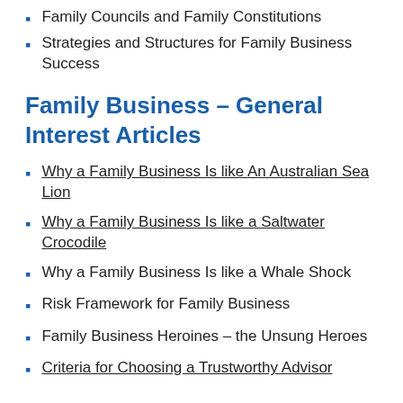Family Councils and Family Constitutions
Strategies and Structures for Family Business Success
Family Business – General Interest Articles
Why a Family Business Is like An Australian Sea Lion
Why a Family Business Is like a Saltwater Crocodile
Why a Family Business Is like a Whale Shock
Risk Framework for Family Business
Family Business Heroines – the Unsung Heroes
Criteria for Choosing a Trustworthy Advisor